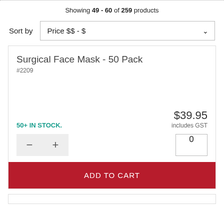Showing 49 - 60 of 259 products
Sort by  Price $$ - $
Surgical Face Mask - 50 Pack
#2209
50+ IN STOCK.
$39.95 includes GST
ADD TO CART